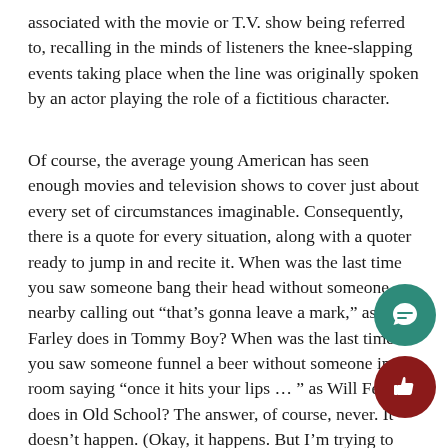associated with the movie or T.V. show being referred to, recalling in the minds of listeners the knee-slapping events taking place when the line was originally spoken by an actor playing the role of a fictitious character.
Of course, the average young American has seen enough movies and television shows to cover just about every set of circumstances imaginable. Consequently, there is a quote for every situation, along with a quoter ready to jump in and recite it. When was the last time you saw someone bang their head without someone nearby calling out “that’s gonna leave a mark,” as Chris Farley does in Tommy Boy? When was the last time you saw someone funnel a beer without someone in the room saying “once it hits your lips … ” as Will Ferrell does in Old School? The answer, of course, never. It doesn’t happen. (Okay, it happens. But I’m trying to make a point here.)Quoting is by no means prevalent exclusively at Colgate. It is an epidemic afflicting camp